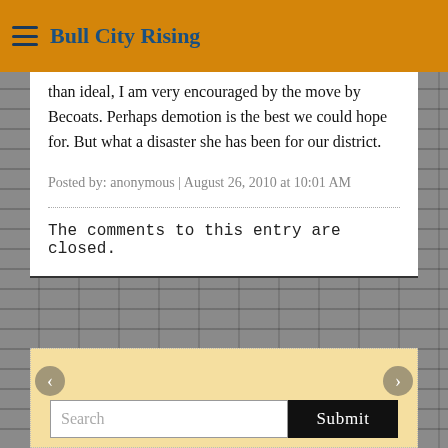Bull City Rising
than ideal, I am very encouraged by the move by Becoats. Perhaps demotion is the best we could hope for. But what a disaster she has been for our district.
Posted by: anonymous | August 26, 2010 at 10:01 AM
The comments to this entry are closed.